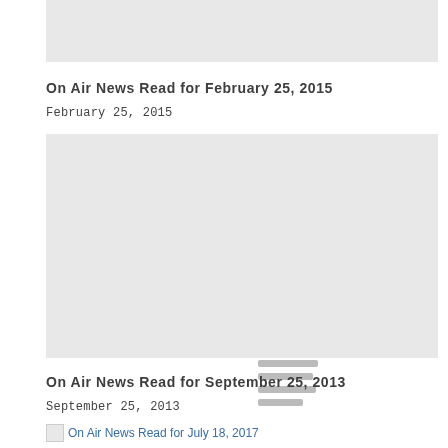[Figure (photo): Gray placeholder image at top of page]
On Air News Read for February 25, 2015
February 25, 2015
[Figure (photo): Gray placeholder image with four horizontal lines icon in center]
On Air News Read for September 25, 2013
September 25, 2013
On Air News Read for July 18, 2017